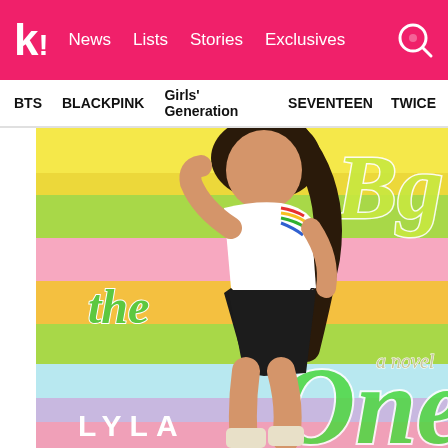k! News Lists Stories Exclusives
BTS BLACKPINK Girls' Generation SEVENTEEN TWICE
[Figure (photo): Book cover of 'The Big One' by Lyla, a novel. A young woman with long dark hair wearing a white t-shirt with rainbow stripes and black distressed denim shorts and white lace-up boots poses against a colorful striped background in yellow, green, pink, orange, and pastel colors. Cursive text on the cover reads 'The', 'Big' (top right), 'a novel', 'One', and 'LYLA' at the bottom.]